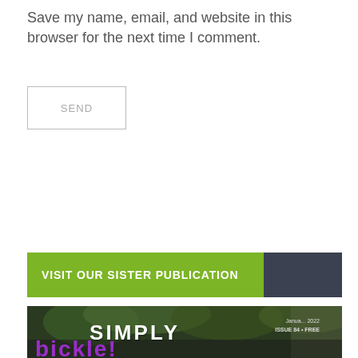Save my name, email, and website in this browser for the next time I comment.
SEND
[Figure (infographic): A two-part banner: green section on left reading 'VISIT OUR SISTER PUBLICATION' in bold white text, dark grey section on right.]
[Figure (photo): Magazine cover image showing a garden/tree scene with 'SIMPLY' text in white and large purple letters at the bottom. Issue 84 FREE label visible top right.]